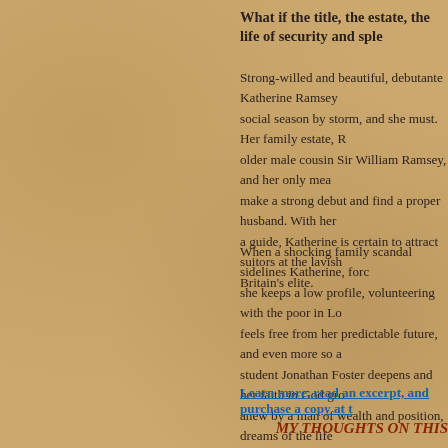What if the title, the estate, the life of security and sple
Strong-willed and beautiful, debutante Katherine Ramsey social season by storm, and she must. Her family estate, R older male cousin Sir William Ramsey, and her only mea make a strong debut and find a proper husband. With her a guide, Katherine is certain to attract suitors at the lavish Britain's elite.
When a shocking family scandal sidelines Katherine, forc she keeps a low profile, volunteering with the poor in Lo feels free from her predictable future, and even more so a student Jonathan Foster deepens and her faith in God gro anew by a man of wealth and position, dreams of the life surface again. Torn between tradition and the stirrings in must decide whom she can trust and love—and if she wi one where she is served.
Learn more, read an excerpt, and purchase a copy at t
MY THOUGHTS ON THIS